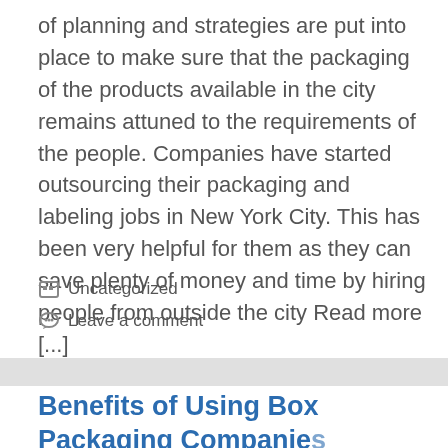of planning and strategies are put into place to make sure that the packaging of the products available in the city remains attuned to the requirements of the people. Companies have started outsourcing their packaging and labeling jobs in New York City. This has been very helpful for them as they can save plenty of money and time by hiring people from outside the city Read more [...]
Uncategorized
Leave a comment
Benefits of Using Box Packaging Companies